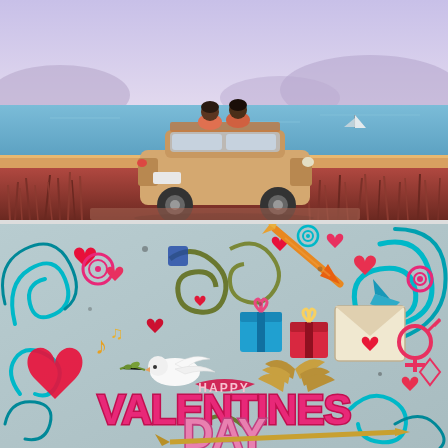[Figure (illustration): Romantic illustration of a couple sitting on top of a car, viewed from behind, looking out at a scenic ocean/sea landscape with sandy shores, calm blue water, a distant sailboat, mountains on the horizon, and a sky with soft purple-pink hues. Tall grass and wildflowers in the foreground at the bottom.]
[Figure (illustration): Colorful doodle-style Valentine's Day illustration with the text 'HAPPY VALENTINES DAY' in large pink letters, surrounded by hearts, flowers, arrows, gift boxes, a dove, music notes, an envelope with a heart, swirls, and various festive elements on a light blue-grey background.]